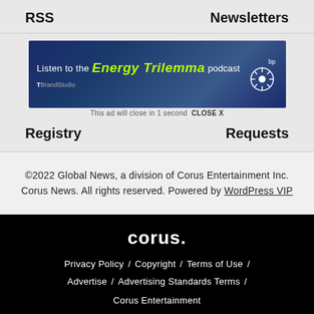RSS
Newsletters
[Figure (illustration): Advertisement banner: 'Listen to the Energy Trilemma podcast' with T Brand Studio and bp logos]
This ad will close in 1 second  CLOSE X
Registry
Requests
©2022 Global News, a division of Corus Entertainment Inc. Corus News. All rights reserved. Powered by WordPress VIP
corus.
Privacy Policy / Copyright / Terms of Use /
Advertise / Advertising Standards Terms /
Corus Entertainment